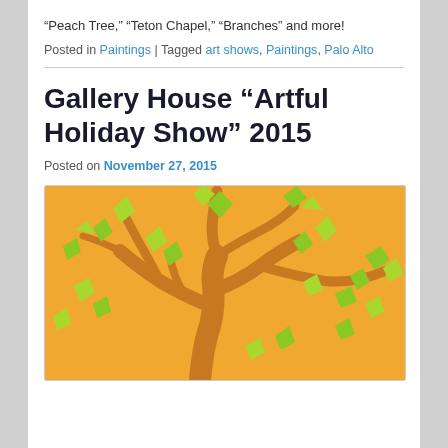“Peach Tree,” “Teton Chapel,” “Branches” and more!
Posted in Paintings | Tagged art shows, Paintings, Palo Alto
Gallery House “Artful Holiday Show” 2015
Posted on November 27, 2015
[Figure (illustration): Painting of a stylized tree with orange/tan trunk and branches against an orange background, with bright green geometric leaf shapes scattered throughout the canopy.]